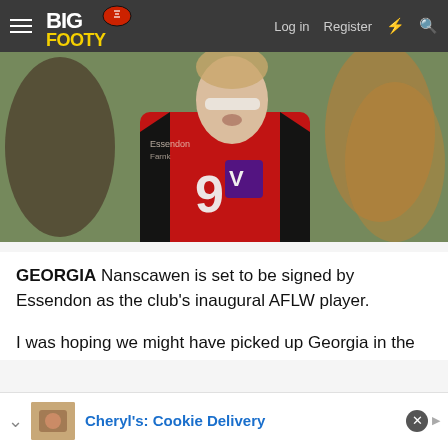BigFooty — Log in  Register
[Figure (photo): A young female Australian rules football player wearing a red and black Essendon-style jersey with number 9, face paint applied, in a game or training setting. Other players visible in background.]
GEORGIA Nanscawen is set to be signed by Essendon as the club's inaugural AFLW player.
I was hoping we might have picked up Georgia in the draft last year. Been absolutely killing it in the VFLW over the l…
Cheryl's: Cookie Delivery